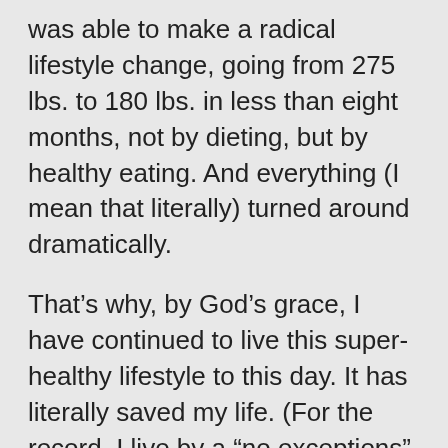was able to make a radical lifestyle change, going from 275 lbs. to 180 lbs. in less than eight months, not by dieting, but by healthy eating. And everything (I mean that literally) turned around dramatically.
That’s why, by God’s grace, I have continued to live this super-healthy lifestyle to this day. It has literally saved my life. (For the record, I live by a “no exceptions” policy. But the issue is not so much about having a rare, unhealthy meal. The issue is a consistently unhealthy lifestyle.)
That being said, I know how powerful food